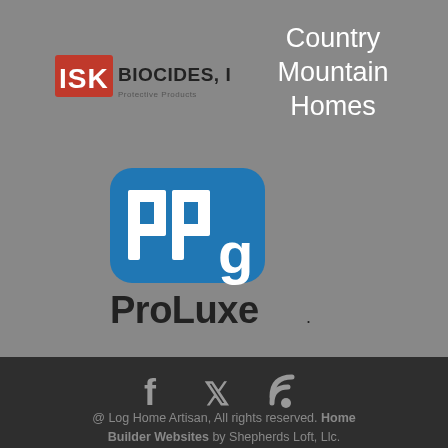[Figure (logo): ISK Biocides, Inc. logo with red ISK letters and black text]
Country Mountain Homes
[Figure (logo): PPG ProLuxe logo with blue rounded rectangle PPG badge and ProLuxe text below]
[Figure (other): Social media icons: Facebook, Twitter, RSS feed]
@ Log Home Artisan, All rights reserved. Home Builder Websites by Shepherds Loft, Llc.